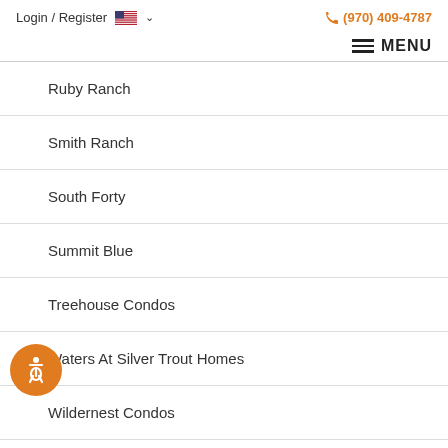Login / Register  (970) 409-4787  MENU
Ruby Ranch
Smith Ranch
South Forty
Summit Blue
Treehouse Condos
Waters At Silver Trout Homes
Wildernest Condos
Willow Creek Highlands